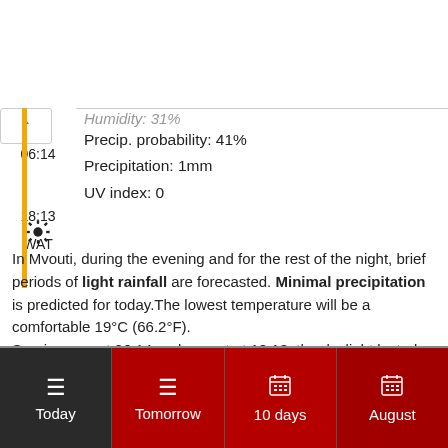Humidity: 31%
Precip. probability: 41%
Precipitation: 1mm
UV index: 0
06:14
18:13
WAT
In Mvouti, during the evening and for the rest of the night, brief periods of light rainfall are forecasted. Minimal precipitation is predicted for today.The lowest temperature will be a comfortable 19°C (66.2°F).
Sunrise was at 06:14 and sunset at 18:13; the daylight lasted for 11h and 59min.
Today | Tomorrow | 10 days | August